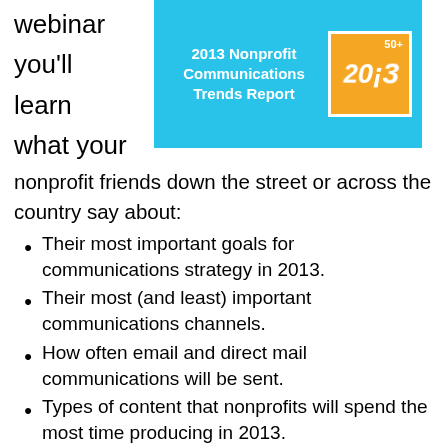webinar
you'll
learn
what your
[Figure (other): 2013 Nonprofit Communications Trends Report banner with orange graphic showing '2013' in stylized text on a light blue background]
nonprofit friends down the street or across the country say about:
Their most important goals for communications strategy in 2013.
Their most (and least) important communications channels.
How often email and direct mail communications will be sent.
Types of content that nonprofits will spend the most time producing in 2013.
Which social media sites nonprofits will fully